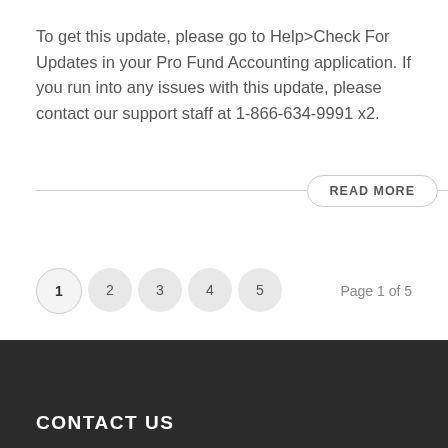To get this update, please go to Help>Check For Updates in your Pro Fund Accounting application. If you run into any issues with this update, please contact our support staff at 1-866-634-9991 x2.
READ MORE
1  2  3  4  5   Page 1 of 5
CONTACT US